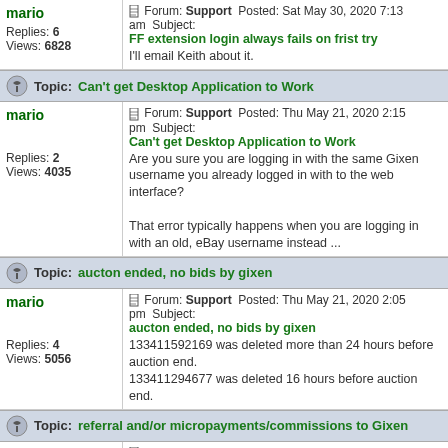mario | Forum: Support  Posted: Sat May 30, 2020 7:13 am  Subject: FF extension login always fails on frist try
Replies: 6  Views: 6828
I'll email Keith about it.
Topic: Can't get Desktop Application to Work
mario | Forum: Support  Posted: Thu May 21, 2020 2:15 pm  Subject: Can't get Desktop Application to Work
Replies: 2  Views: 4035
Are you sure you are logging in with the same Gixen username you already logged in with to the web interface?

That error typically happens when you are logging in with an old, eBay username instead ...
Topic: aucton ended, no bids by gixen
mario | Forum: Support  Posted: Thu May 21, 2020 2:05 pm  Subject: aucton ended, no bids by gixen
Replies: 4  Views: 5056
133411592169 was deleted more than 24 hours before auction end.
133411294677 was deleted 16 hours before auction end.
Topic: referral and/or micropayments/commissions to Gixen
mario | Forum: Suggestions and Ideas  Posted: Mon May 18, 2020 5:18 pm  Subject: referral and/or micropayments/commissions to Gixen
Replies: 4  Views: 6332
Steven, no, it never crossed my mind to create one... I don't think, however, that with the pricing in place it makes a lot of sense.
Topic: Paid twice for Gixen Mirror, Still won't allow me to acces
mario | Forum: Support  Posted: Tue May 12, 2020 8:08 am  Subject: Paid twice for Gixen Mirror, Still won't allow me to acces